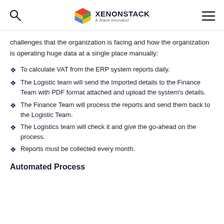XenonStack - A Stack Innovator
challenges that the organization is facing and how the organization is operating huge data at a single place manually:
To calculate VAT from the ERP system reports daily.
The Logistic team will send the Imported details to the Finance Team with PDF format attached and upload the system's details.
The Finance Team will process the reports and send them back to the Logistic Team.
The Logistics team will check it and give the go-ahead on the process.
Reports must be collected every month.
Automated Process